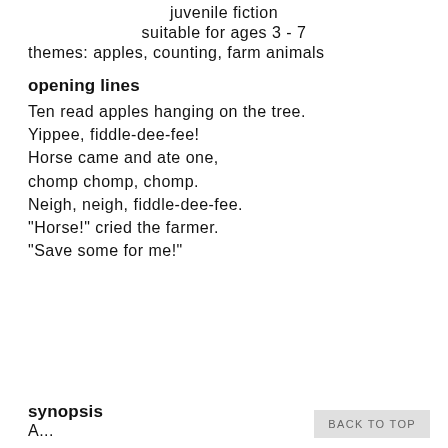juvenile fiction
suitable for ages 3 - 7
themes: apples, counting, farm animals
opening lines
Ten read apples hanging on the tree.
Yippee, fiddle-dee-fee!
Horse came and ate one,
chomp chomp, chomp.
Neigh, neigh, fiddle-dee-fee.
"Horse!" cried the farmer.
"Save some for me!"
synopsis
A...
BACK TO TOP